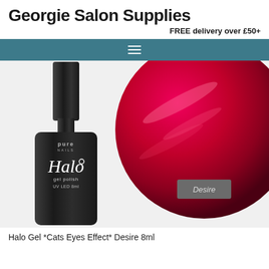Georgie Salon Supplies
FREE delivery over £50+
[Figure (photo): Product photo of Pure Nails Halo Gel Polish UV LED 8ml in shade 'Desire' — a dark bottle with script logo alongside a circular swatch of deep crimson/magenta metallic gel polish with cat-eye shimmer effect, and a grey label tag reading 'Desire']
Halo Gel *Cats Eyes Effect* Desire 8ml